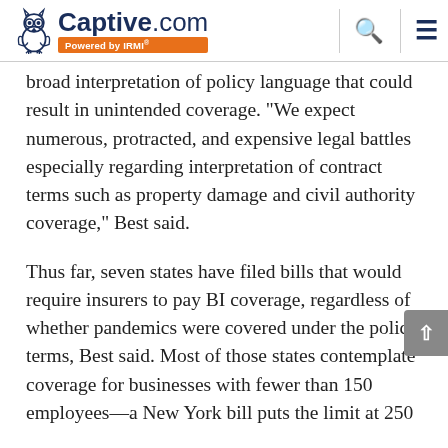Captive.com Powered by IRMI
broad interpretation of policy language that could result in unintended coverage. "We expect numerous, protracted, and expensive legal battles especially regarding interpretation of contract terms such as property damage and civil authority coverage," Best said.
Thus far, seven states have filed bills that would require insurers to pay BI coverage, regardless of whether pandemics were covered under the policy terms, Best said. Most of those states contemplate coverage for businesses with fewer than 150 employees—a New York bill puts the limit at 250